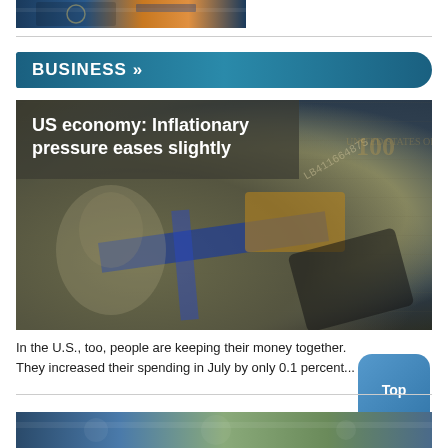[Figure (photo): Industrial/city scene photo thumbnail at top of page]
BUSINESS »
[Figure (photo): Close-up photo of US $100 dollar bills with article title overlay: 'US economy: Inflationary pressure eases slightly']
US economy: Inflationary pressure eases slightly
In the U.S., too, people are keeping their money together. They increased their spending in July by only 0.1 percent...
[Figure (photo): Partial photo strip visible at bottom of page]